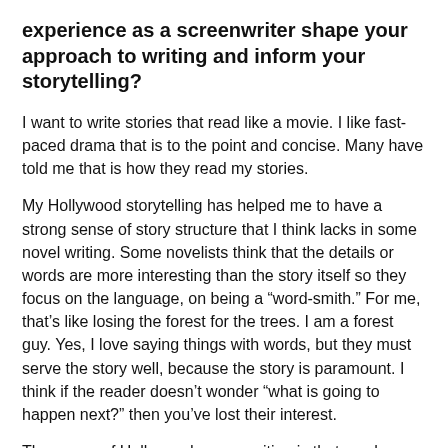experience as a screenwriter shape your approach to writing and inform your storytelling?
I want to write stories that read like a movie. I like fast-paced drama that is to the point and concise. Many have told me that is how they read my stories.
My Hollywood storytelling has helped me to have a strong sense of story structure that I think lacks in some novel writing. Some novelists think that the details or words are more interesting than the story itself so they focus on the language, on being a “word-smith.” For me, that’s like losing the forest for the trees. I am a forest guy. Yes, I love saying things with words, but they must serve the story well, because the story is paramount. I think if the reader doesn’t wonder “what is going to happen next?” then you’ve lost their interest.
The power of Hollywood screenwriting is that you have to learn how to say more with fewer words, to be more